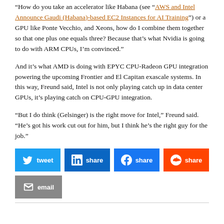“How do you take an accelerator like Habana (see “AWS and Intel Announce Gaudi (Habana)-based EC2 Instances for AI Training”) or a GPU like Ponte Vecchio, and Xeons, how do I combine them together so that one plus one equals three? Because that’s what Nvidia is going to do with ARM CPUs, I’m convinced.”
And it’s what AMD is doing with EPYC CPU-Radeon GPU integration powering the upcoming Frontier and El Capitan exascale systems. In this way, Freund said, Intel is not only playing catch up in data center GPUs, it’s playing catch on CPU-GPU integration.
“But I do think (Gelsinger) is the right move for Intel,” Freund said. “He’s got his work cut out for him, but I think he’s the right guy for the job.”
[Figure (other): Social sharing buttons: tweet (Twitter/blue), share (LinkedIn/blue), share (Facebook/blue), share (Reddit/orange), email (grey)]